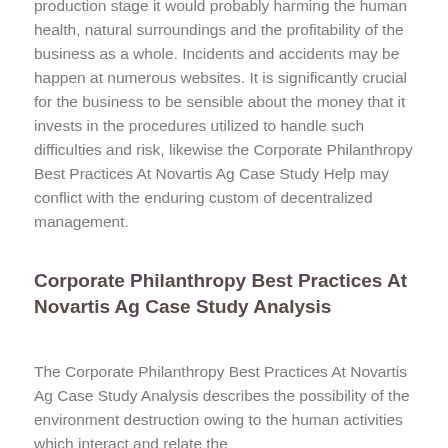production stage it would probably harming the human health, natural surroundings and the profitability of the business as a whole. Incidents and accidents may be happen at numerous websites. It is significantly crucial for the business to be sensible about the money that it invests in the procedures utilized to handle such difficulties and risk, likewise the Corporate Philanthropy Best Practices At Novartis Ag Case Study Help may conflict with the enduring custom of decentralized management.
Corporate Philanthropy Best Practices At Novartis Ag Case Study Analysis
The Corporate Philanthropy Best Practices At Novartis Ag Case Study Analysis describes the possibility of the environment destruction owing to the human activities which interact and relate the